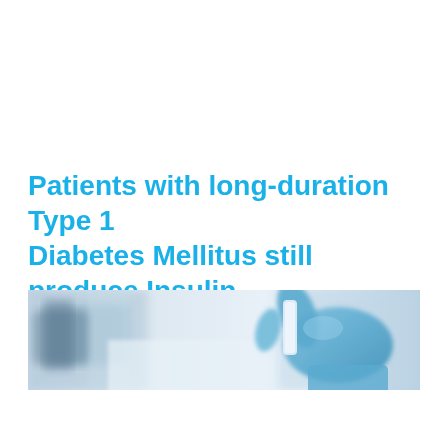Patients with long-duration Type 1 Diabetes Mellitus still produce Insulin
[Figure (photo): Close-up photograph of a gloved hand (blue latex glove) holding a laboratory vial or slide, with blurred lab equipment in the background. The image has a light blue and white color palette.]